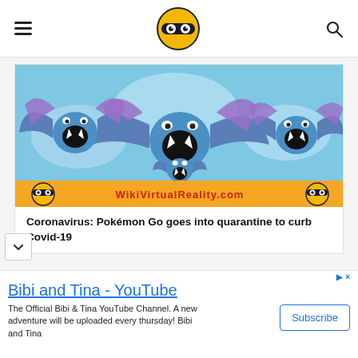WikiVirtualReality.com - navigation header with hamburger menu, logo, and search icon
[Figure (screenshot): Cartoon image of multiple blue bat-like Pokémon (Golbat) flying, with purple wings and open mouths showing fangs. An orange banner at the bottom partially shows 'WikiVirtualReality.com' text with the site logo on left and right sides.]
Coronavirus: Pokémon Go goes into quarantine to curb Covid-19
Bibi and Tina - YouTube
The Official Bibi & Tina YouTube Channel. A new adventure will be uploaded every thursday! Bibi and Tina